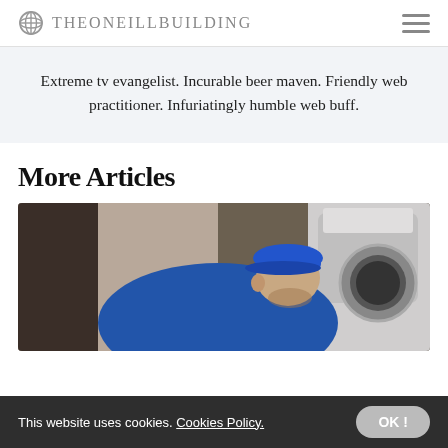THEONEILLBUILDING
Extreme tv evangelist. Incurable beer maven. Friendly web practitioner. Infuriatingly humble web buff.
More Articles
[Figure (photo): A man in a blue cap and blue shirt leaning toward a front-loading washing machine, appearing to inspect or repair it.]
This website uses cookies. Cookies Policy.